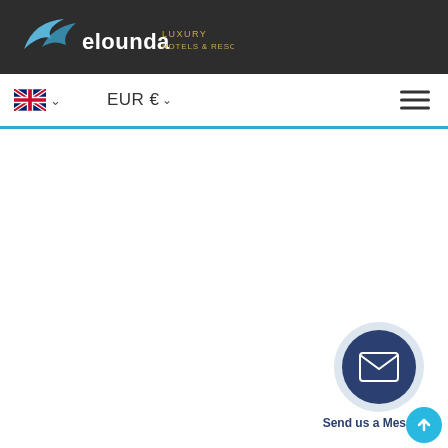elounda LUXURY HOTELS & RESORTS
[Figure (screenshot): Navigation bar with UK flag language selector, EUR € currency selector, and hamburger menu icon]
[Figure (illustration): Send us a Message button — circular icon with dark navy background and envelope/mail icon, surrounded by a light grey halo circle]
Send us a Message
[Figure (illustration): Scroll to top button — small cyan/turquoise circle with upward arrow]